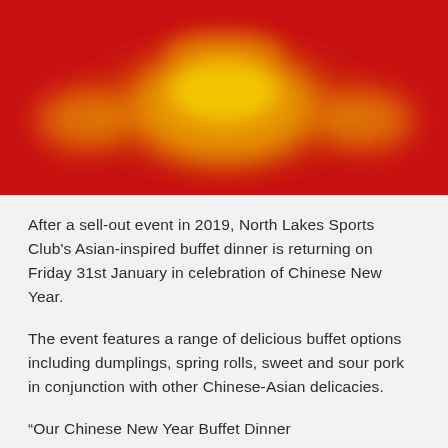[Figure (photo): A blurred red background image with golden/yellow glowing lantern-like decorative shapes in the center and sides, suggestive of Chinese New Year decorations.]
After a sell-out event in 2019, North Lakes Sports Club's Asian-inspired buffet dinner is returning on Friday 31st January in celebration of Chinese New Year.
The event features a range of delicious buffet options including dumplings, spring rolls, sweet and sour pork in conjunction with other Chinese-Asian delicacies.
“Our Chinese New Year Buffet Dinner